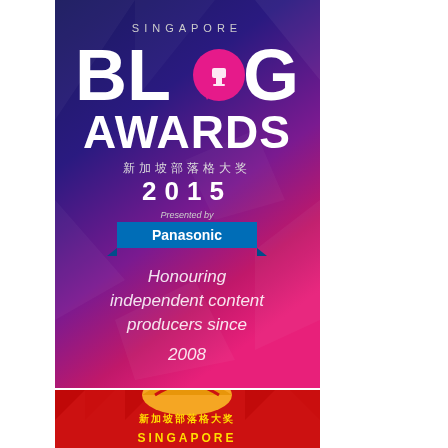[Figure (illustration): Singapore Blog Awards 2015 promotional banner. Dark blue to pink gradient background with geometric polygon decorations. Shows 'SINGAPORE BLOG AWARDS' text with trophy icon replacing the 'O' in BLOG. Chinese text '新加坡部落格大奖', year '2015', 'Presented by Panasonic' on a blue ribbon banner, and tagline 'Honouring independent content producers since 2008'.]
[Figure (illustration): Partial view of another Singapore Blog Awards banner with red background, showing a circus/carnival tent illustration and Chinese text '新加坡部落格大奖' and 'SINGAPORE' in neon-style lettering.]